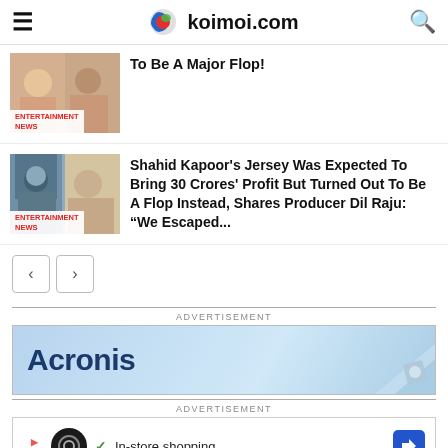koimoi.com
To Be A Major Flop!
ENTERTAINMENT NEWS
Shahid Kapoor's Jersey Was Expected To Bring 30 Crores' Profit But Turned Out To Be A Flop Instead, Shares Producer Dil Raju: "We Escaped...
ENTERTAINMENT NEWS
[Figure (screenshot): Advertisement banner for Acronis with blue gradient background]
[Figure (screenshot): Advertisement banner for In-store shopping with navigation arrow icon]